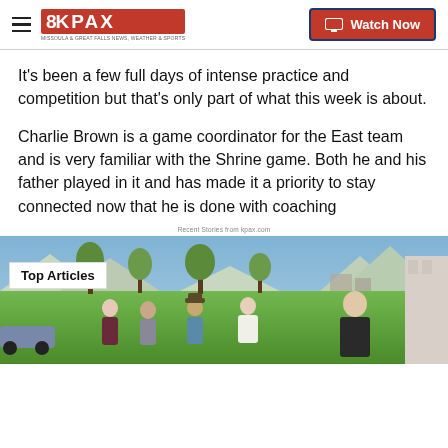8KPAX | Watch Now
It’s been a few full days of intense practice and competition but that’s only part of what this week is about.
Charlie Brown is a game coordinator for the East team and is very familiar with the Shrine game. Both he and his father played in it and has made it a priority to stay connected now that he is done with coaching
Recent Stories from kpax.com
[Figure (photo): Group of people standing outdoors on a green lawn with trees and mountains in background. A 'Top Articles' badge is overlaid on the image.]